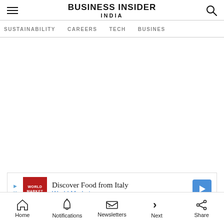BUSINESS INSIDER INDIA
SUSTAINABILITY   CAREERS   TECH   BUSINESS
[Figure (other): Advertisement banner: World Market - Discover Food from Italy]
Home   Notifications   Newsletters   Next   Share